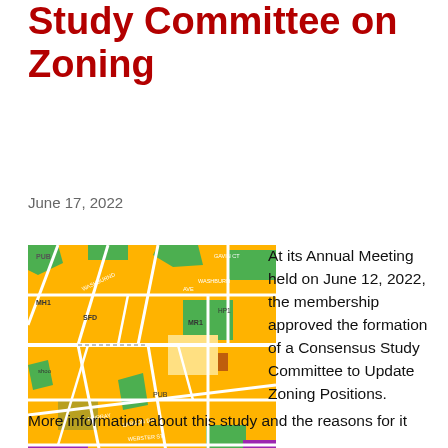Study Committee on Zoning
June 17, 2022
[Figure (map): Colored zoning map showing neighborhood streets and zoning districts in orange, green, purple, brown, and other colors with street labels.]
At its Annual Meeting held on June 12, 2022, the membership approved the formation of a Consensus Study Committee to Update Zoning Positions.
More information about this study and the reasons for it